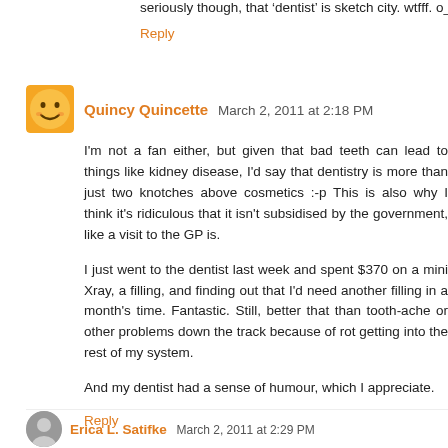seriously though, that 'dentist' is sketch city. wtfff. o_O
Reply
Quincy Quincette March 2, 2011 at 2:18 PM
I'm not a fan either, but given that bad teeth can lead to things like kidney disease, I'd say that dentistry is more than just two knotches above cosmetics :-p This is also why I think it's ridiculous that it isn't subsidised by the government, like a visit to the GP is.
I just went to the dentist last week and spent $370 on a mini Xray, a filling, and finding out that I'd need another filling in a month's time. Fantastic. Still, better that than tooth-ache or other problems down the track because of rot getting into the rest of my system.
And my dentist had a sense of humour, which I appreciate.
Reply
Erica L. Satifke March 2, 2011 at 2:29 PM